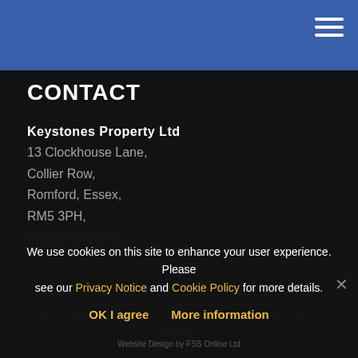Navigation header bar with hamburger menu
CONTACT
Keystones Property Ltd
13 Clockhouse Lane,
Collier Row,
Romford, Essex,
RM5 3PH,
United Kingdom
Email: info@key-stones.co.uk
Telephone: 01708 PPP…
We use cookies on this site to enhance your user experience. Please see our Privacy Notice and Cookie Policy for more details.
OK I agree   More information
© 2022 Copyright Keystones Property Ltd. All Rights reserved.
Sitemap | In House Complaints Procedure | Cookie Policy | Privacy Policy | Terms and Conditions
Website Design by FSS Online Ltd